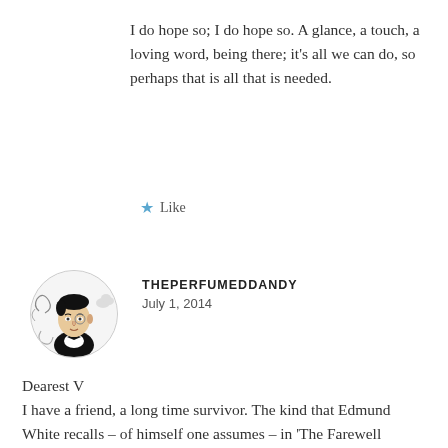I do hope so; I do hope so. A glance, a touch, a loving word, being there; it's all we can do, so perhaps that is all that is needed.
★ Like
[Figure (illustration): Circular avatar illustration of a dandy gentleman figure in black and white ink style, with decorative swirls and clouds around him, wearing formal attire]
THEPERFUMEDDANDY
July 1, 2014
Dearest V
I have a friend, a long time survivor. The kind that Edmund White recalls – of himself one assumes – in 'The Farewell Symphony', that was left standing playing on alone as everyone else left the stage. Though not an unhappy person, anything but, he has,